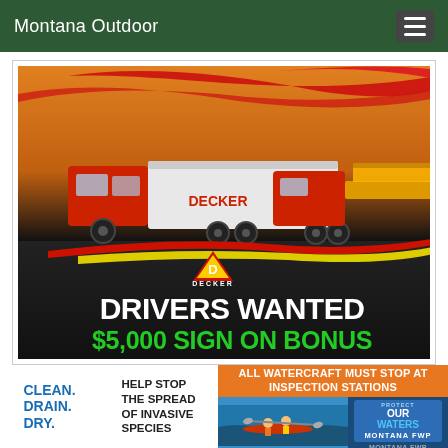Montana Outdoor
[Figure (photo): Decker Trucking advertisement showing two large red semi-trucks on a dark background with yellow and red graphic swooshes. Bold white text reads 'DRIVERS WANTED' and green text reads '$5,000 SIGN ON BONUS'. Decker logo (red triangle with D) prominently displayed.]
[Figure (infographic): Montana FWP banner ad: Left section with 'CLEAN. DRAIN. DRY.' in blue text. Center section with white text 'HELP STOP THE SPREAD OF INVASIVE SPECIES'. Orange top bar: 'ALL WATERCRAFT MUST STOP AT INSPECTION STATIONS'. Right bottom: kayakers photo and 'PROTECT OUR WATERS / MONTANA FWP' badge.]